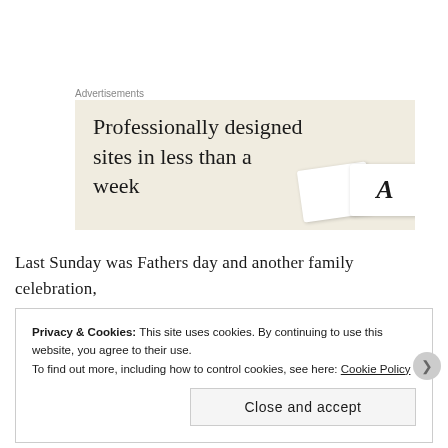Advertisements
[Figure (illustration): Advertisement banner with beige/cream background showing text 'Professionally designed sites in less than a week' with decorative card/typography elements on the right side.]
Last Sunday was Fathers day and another family celebration, so we went to see the new Jurassic Park film. I have to
Privacy & Cookies: This site uses cookies. By continuing to use this website, you agree to their use.
To find out more, including how to control cookies, see here: Cookie Policy

Close and accept